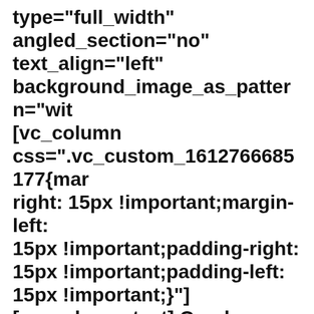type="full_width" angled_section="no" text_align="left" background_image_as_pattern="wit [vc_column css=".vc_custom_1612766685177{mar right: 15px !important;margin-left: 15px !important;padding-right: 15px !important;padding-left: 15px !important;}"] [vc_column_text] Quadro generale [/vc_column_text] [vc_separator type="normal" color="#8e8e8e" thickness="1"] [vc_empty_space][/vc_column]